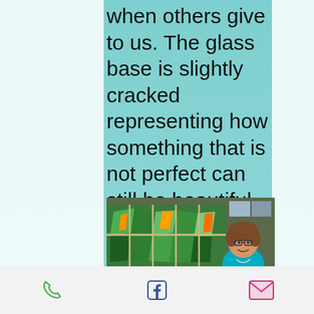when others give to us. The glass base is slightly cracked representing how something that is not perfect can still be beautiful.  The two doves represent the love Larry and Debbie have for each other.
[Figure (photo): A smiling woman with glasses and short brown hair wearing a teal/blue shirt, standing in front of a colorful stained glass mosaic panel in an indoor/warehouse setting.]
Phone | Facebook | Email (navigation icons)